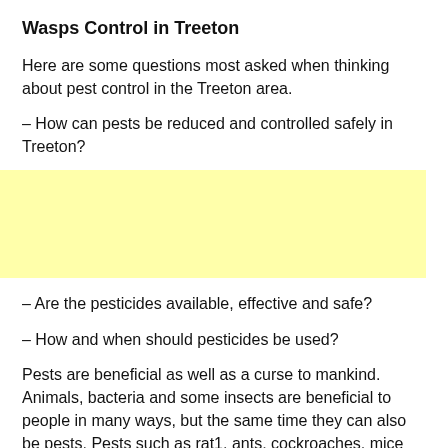Wasps Control in Treeton
Here are some questions most asked when thinking about pest control in the Treeton area.
– How can pests be reduced and controlled safely in Treeton?
[Figure (other): Yellow advertisement or banner placeholder block]
– Are the pesticides available, effective and safe?
– How and when should pesticides be used?
Pests are beneficial as well as a curse to mankind. Animals, bacteria and some insects are beneficial to people in many ways, but the same time they can also be pests. Pests such as rat1, ants, cockroaches, mice and